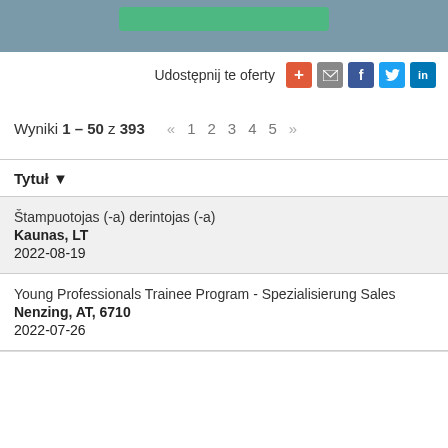[Figure (other): Top banner with grey background and green button]
Udostępnij te oferty
Wyniki 1 – 50 z 393  « 1 2 3 4 5 »
Tytuł ▼
Štampuotojas (-a) derintojas (-a)
Kaunas, LT
2022-08-19
Young Professionals Trainee Program - Spezialisierung Sales
Nenzing, AT, 6710
2022-07-26